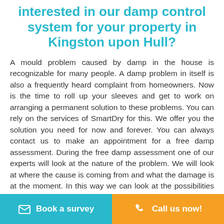interested in our damp control system for your property in Kingston upon Hull?
A mould problem caused by damp in the house is recognizable for many people. A damp problem in itself is also a frequently heard complaint from homeowners. Now is the time to roll up your sleeves and get to work on arranging a permanent solution to these problems. You can rely on the services of SmartDry for this. We offer you the solution you need for now and forever. You can always contact us to make an appointment for a free damp assessment. During the free damp assessment one of our experts will look at the nature of the problem. We will look at where the cause is coming from and what the damage is at the moment. In this way we can look at the possibilities to get rid of this problem permanently and give you a free no obligation quote of the
Book a survey
Call us now!